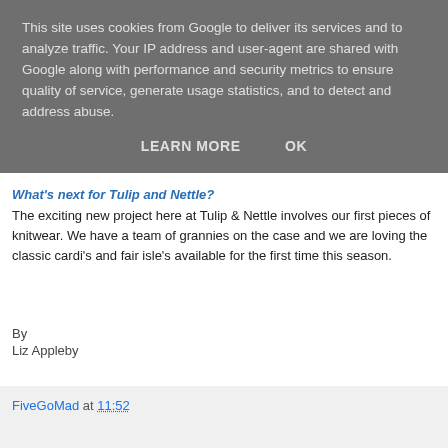This site uses cookies from Google to deliver its services and to analyze traffic. Your IP address and user-agent are shared with Google along with performance and security metrics to ensure quality of service, generate usage statistics, and to detect and address abuse.
LEARN MORE   OK
What's next for Tulip and Nettle?
The exciting new project here at Tulip & Nettle involves our first pieces of knitwear. We have a team of grannies on the case and we are loving the classic cardi's and fair isle's available for the first time this season.
By
Liz Appleby
FiveGoMad at 11:52